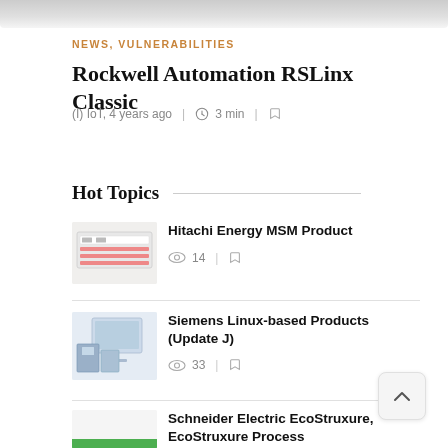[Figure (photo): Gray gradient top banner strip]
NEWS, VULNERABILITIES
Rockwell Automation RSLinx Classic
(I) IoT, 4 years ago  |  3 min  |  [bookmark]
Hot Topics
[Figure (photo): Hitachi Energy MSM Product device image]
Hitachi Energy MSM Product
14  |  [bookmark]
[Figure (photo): Siemens Linux-based Products hardware image]
Siemens Linux-based Products (Update J)
33  |  [bookmark]
[Figure (photo): Schneider Electric green bar thumbnail]
Schneider Electric EcoStruxure, EcoStruxure Process